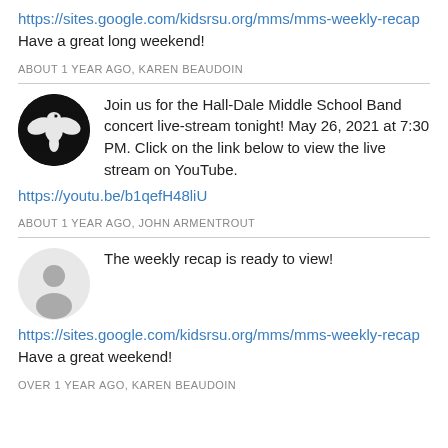https://sites.google.com/kidsrsu.org/mms/mms-weekly-recap Have a great long weekend!
ABOUT 1 YEAR AGO, KAREN BEAUDOIN
Join us for the Hall-Dale Middle School Band concert live-stream tonight! May 26, 2021 at 7:30 PM. Click on the link below to view the live stream on YouTube.
https://youtu.be/b1qefH48liU
ABOUT 1 YEAR AGO, JOHN ARMENTROUT
The weekly recap is ready to view!
https://sites.google.com/kidsrsu.org/mms/mms-weekly-recap Have a great weekend!
OVER 1 YEAR AGO, KAREN BEAUDOIN